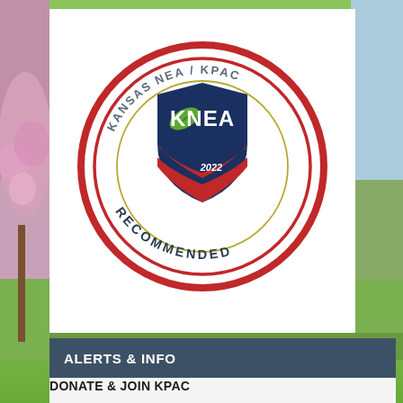[Figure (logo): Kansas NEA / KPAC KNEA Recommended 2022 circular badge logo. Features two concentric red rings, an inner gold ring, and a center shield emblem with KNEA text, a green leaf, red swoosh, and '2022'. Text arcing around reads 'KANSAS NEA / KPAC' at top and 'RECOMMENDED' at bottom.]
ALERTS & INFO
DONATE & JOIN KPAC